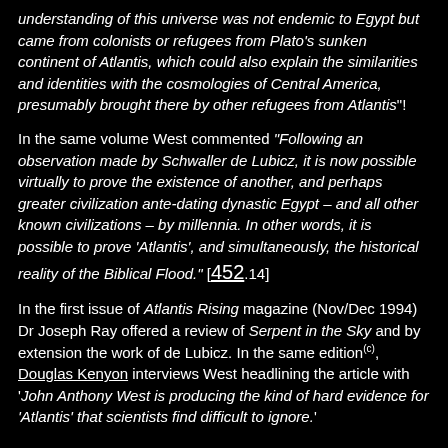understanding of this universe was not endemic to Egypt but came from colonists or refugees from Plato's sunken continent of Atlantis, which could also explain the similarities and identities with the cosmologies of Central America, presumably brought there by other refugees from Atlantis"!
In the same volume West commented "Following an observation made by Schwaller de Lubicz, it is now possible virtually to prove the existence of another, and perhaps greater civilization ante-dating dynastic Egypt – and all other known civilizations – by millennia. In other words, it is possible to prove 'Atlantis', and simultaneously, the historical reality of the Biblical Flood." [452.14]
In the first issue of Atlantis Rising magazine (Nov/Dec 1994) Dr Joseph Ray offered a review of Serpent in the Sky and by extension the work of de Lubicz. In the same edition(c), Douglas Kenyon interviews West headlining the article with 'John Anthony West is producing the kind of hard evidence for 'Atlantis' that scientists find difficult to ignore.'